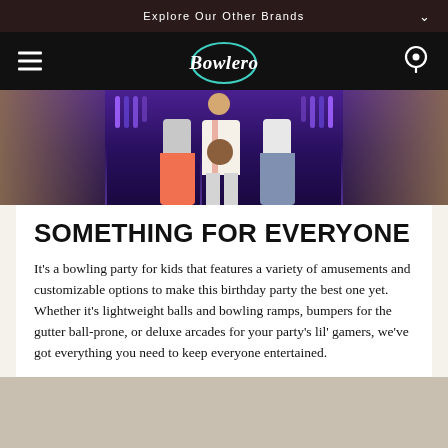Explore Our Other Brands
[Figure (logo): Bowlero logo in white script font with teal circular outline, on black navigation bar with hamburger menu left and location pin icon right]
[Figure (photo): Three children standing on a bowling alley lane holding a bowling ball, with glowing purple/blue lit bowling pins in the background]
SOMETHING FOR EVERYONE
It's a bowling party for kids that features a variety of amusements and customizable options to make this birthday party the best one yet. Whether it's lightweight balls and bowling ramps, bumpers for the gutter ball-prone, or deluxe arcades for your party's lil' gamers, we've got everything you need to keep everyone entertained.